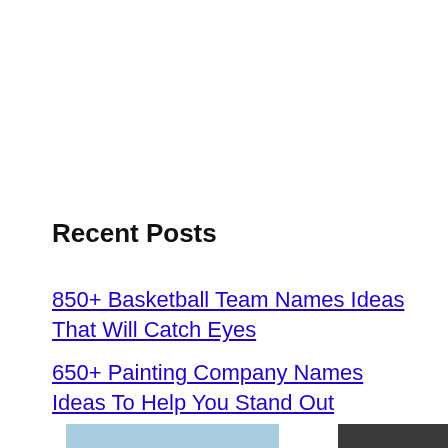Recent Posts
850+ Basketball Team Names Ideas That Will Catch Eyes
650+ Painting Company Names Ideas To Help You Stand Out
[Figure (photo): A Southwest Airlines cargo plane on the tarmac being loaded, with a dark advertisement overlay reading WITHOUT REGARD TO POLITICS, RELIGION, OR ABILITY TO PAY]